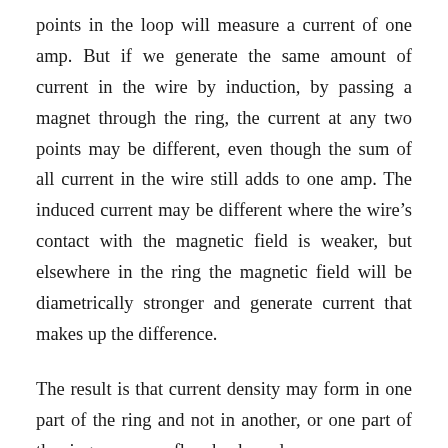points in the loop will measure a current of one amp. But if we generate the same amount of current in the wire by induction, by passing a magnet through the ring, the current at any two points may be different, even though the sum of all current in the wire still adds to one amp. The induced current may be different where the wire's contact with the magnetic field is weaker, but elsewhere in the ring the magnetic field will be diametrically stronger and generate current that makes up the difference.
The result is that current density may form in one part of the ring and not in another, or one part of the ring may even flow backwards – a